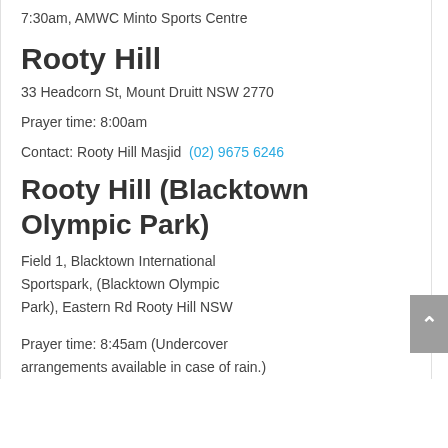7:30am, AMWC Minto Sports Centre
Rooty Hill
33 Headcorn St, Mount Druitt NSW 2770
Prayer time: 8:00am
Contact: Rooty Hill Masjid  (02) 9675 6246
Rooty Hill (Blacktown Olympic Park)
Field 1, Blacktown International Sportspark, (Blacktown Olympic Park), Eastern Rd Rooty Hill NSW
Prayer time: 8:45am (Undercover arrangements available in case of rain.)